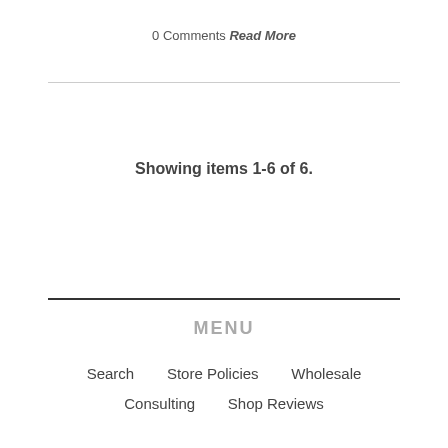0 Comments Read More
Showing items 1-6 of 6.
MENU
Search   Store Policies   Wholesale
Consulting   Shop Reviews